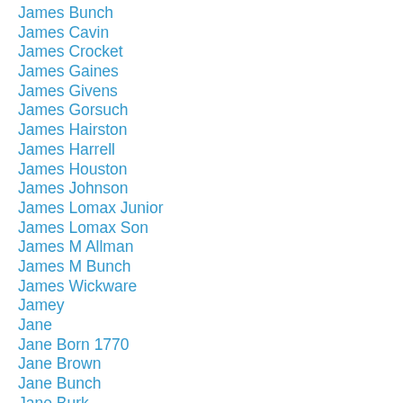James Bunch
James Cavin
James Crocket
James Gaines
James Givens
James Gorsuch
James Hairston
James Harrell
James Houston
James Johnson
James Lomax Junior
James Lomax Son
James M Allman
James M Bunch
James Wickware
Jamey
Jane
Jane Born 1770
Jane Brown
Jane Bunch
Jane Burk